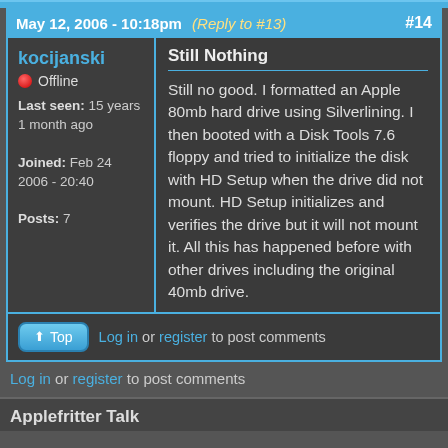May 12, 2006 - 10:18pm (Reply to #13) #14
kocijanski
🔴 Offline
Last seen: 15 years 1 month ago
Joined: Feb 24 2006 - 20:40
Posts: 7
Still Nothing
Still no good. I formatted an Apple 80mb hard drive using Silverlining. I then booted with a Disk Tools 7.6 floppy and tried to initialize the disk with HD Setup when the drive did not mount. HD Setup initializes and verifies the drive but it will not mount it. All this has happened before with other drives including the original 40mb drive.
Top
Log in or register to post comments
Log in or register to post comments
Applefritter Talk